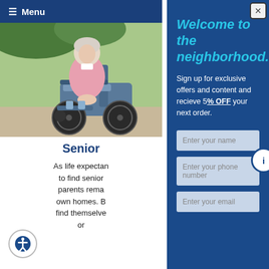≡ Menu
[Figure (photo): Elderly woman in a pink jacket seated in a wheelchair outdoors]
Senior
As life expectan... to find senior parents rema... own homes. B... find themselve... or
Welcome to the neighborhood.
Sign up for exclusive offers and content and recieve 5% OFF your next order.
Enter your name
Enter your phone number
Enter your email